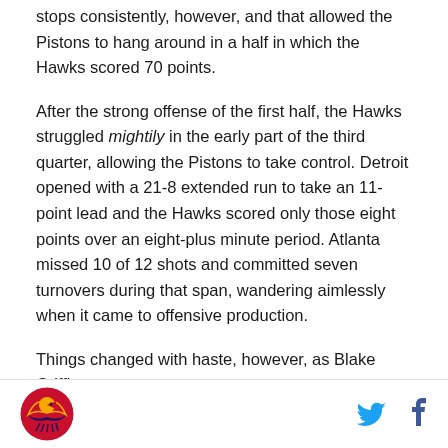stops consistently, however, and that allowed the Pistons to hang around in a half in which the Hawks scored 70 points.
After the strong offense of the first half, the Hawks struggled mightily in the early part of the third quarter, allowing the Pistons to take control. Detroit opened with a 21-8 extended run to take an 11-point lead and the Hawks scored only those eight points over an eight-plus minute period. Atlanta missed 10 of 12 shots and committed seven turnovers during that span, wandering aimlessly when it came to offensive production.
Things changed with haste, however, as Blake Griffin